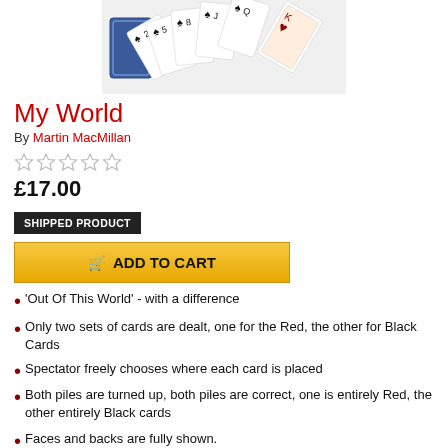[Figure (photo): Photo of a fan of playing cards (spades) with blue back design on white background]
My World
By Martin MacMillan
★★★★★ (empty stars rating)
£17.00
SHIPPED PRODUCT
ADD TO CART
'Out Of This World' - with a difference
Only two sets of cards are dealt, one for the Red, the other for Black Cards
Spectator freely chooses where each card is placed
Both piles are turned up, both piles are correct, one is entirely Red, the other entirely Black cards
Faces and backs are fully shown.